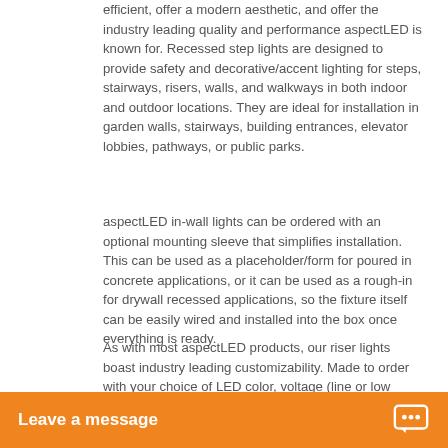efficient, offer a modern aesthetic, and offer the industry leading quality and performance aspectLED is known for. Recessed step lights are designed to provide safety and decorative/accent lighting for steps, stairways, risers, walls, and walkways in both indoor and outdoor locations. They are ideal for installation in garden walls, stairways, building entrances, elevator lobbies, pathways, or public parks.
aspectLED in-wall lights can be ordered with an optional mounting sleeve that simplifies installation. This can be used as a placeholder/form for poured in concrete applications, or it can be used as a rough-in for drywall recessed applications, so the fixture itself can be easily wired and installed into the box once everything is ready.
As with most aspectLED products, our riser lights boast industry leading customizability. Made to order with your choice of LED color, voltage (line or low voltage options), and wire lead length, and for specialized insta...
Leave a message